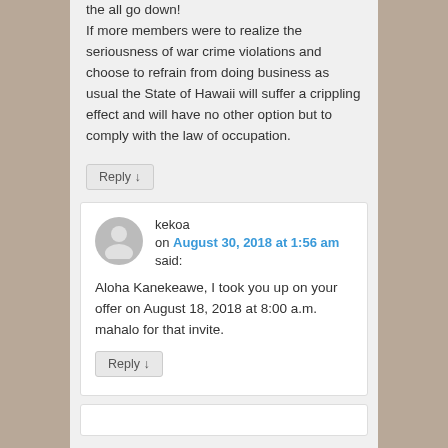the all go down! If more members were to realize the seriousness of war crime violations and choose to refrain from doing business as usual the State of Hawaii will suffer a crippling effect and will have no other option but to comply with the law of occupation.
Reply ↓
kekoa on August 30, 2018 at 1:56 am said:
Aloha Kanekeawe, I took you up on your offer on August 18, 2018 at 8:00 a.m. mahalo for that invite.
Reply ↓